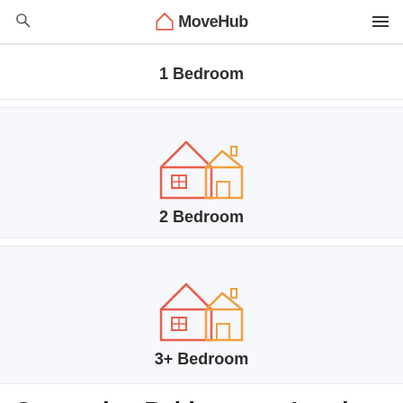MoveHub
1 Bedroom
[Figure (illustration): House icon with two floors and a smaller house beside it, orange and red gradient outline style, for 2 Bedroom option]
2 Bedroom
[Figure (illustration): House icon with two floors and a smaller house beside it, orange and red gradient outline style, for 3+ Bedroom option]
3+ Bedroom
Comparing Baltimore vs London